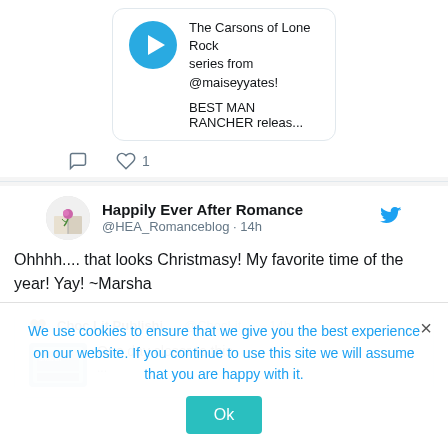[Figure (screenshot): Tweet card with blue play button icon showing The Carsons of Lone Rock series from @maiseyyates and BEST MAN RANCHER releas...]
The Carsons of Lone Rock series from @maiseyyates!

BEST MAN RANCHER releas...
comment icon   heart icon  1
[Figure (screenshot): Tweet from Happily Ever After Romance @HEA_Romanceblog 14h with Twitter bird icon]
Happily Ever After Romance @HEA_Romanceblog · 14h
Ohhhh.... that looks Christmasy!  My favorite time of the year!  Yay! ~Marsha
[Figure (screenshot): Nested retweet card from Choc Lit Publishi... @ChocLit... · 14h: One day closer to this]
Choc Lit Publishi... @ChocLit... · 14h
One day closer to this
We use cookies to ensure that we give you the best experience on our website. If you continue to use this site we will assume that you are happy with it.
Ok